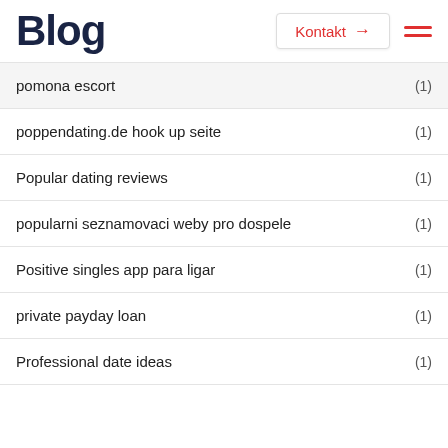Blog
Kontakt →
pomona escort (1)
poppendating.de hook up seite (1)
Popular dating reviews (1)
popularni seznamovaci weby pro dospele (1)
Positive singles app para ligar (1)
private payday loan (1)
Professional date ideas (1)